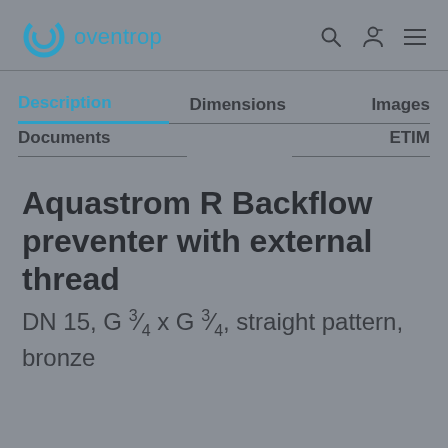oventrop
Description | Dimensions | Images | Documents | ETIM
Aquastrom R Backflow preventer with external thread
DN 15, G ¾ x G ¾, straight pattern, bronze